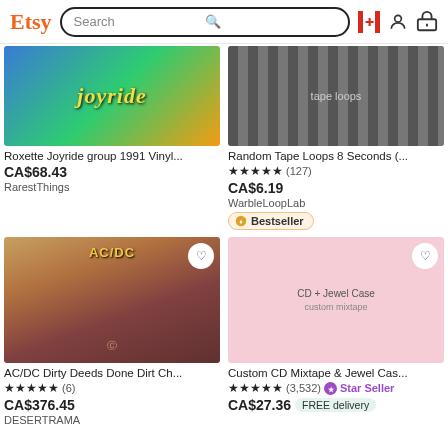Etsy — Search bar with Canadian flag, user account, and basket icons
[Figure (screenshot): Roxette Joyride vinyl album cover product image (partially cropped), showing 'Joyride' text on a colourful background]
Roxette Joyride group 1991 Vinyl...
CA$68.43
RarestThings
[Figure (screenshot): Random Tape Loops product image showing various tape cassettes/reels]
Random Tape Loops 8 Seconds (...
★★★★★ (127)
CA$6.19
WarbleLoopLab
Bestseller
[Figure (screenshot): AC/DC Dirty Deeds Done Dirt Cheap vinyl album cover showing illustrated rock scene with AC/DC branding]
AC/DC Dirty Deeds Done Dirt Ch...
★★★★★ (6)
CA$376.45
DESERTRAMA
[Figure (screenshot): Custom CD Mixtape & Jewel Case product image showing a CD case with a couple on a pink background]
Custom CD Mixtape & Jewel Cas...
★★★★★ (3,532)
Star Seller
CA$27.36
FREE delivery